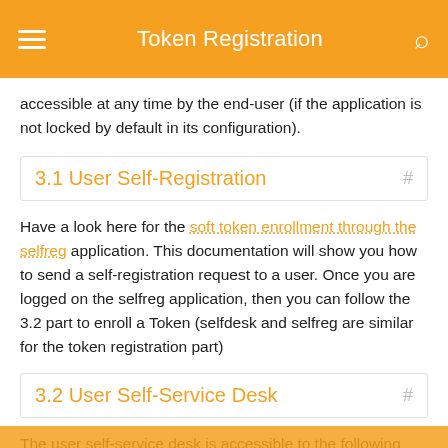Token Registration
accessible at any time by the end-user (if the application is not locked by default in its configuration).
3.1 User Self-Registration
Have a look here for the soft token enrollment through the selfreg application. This documentation will show you how to send a self-registration request to a user. Once you are logged on the selfreg application, then you can follow the 3.2 part to enroll a Token (selfdesk and selfreg are similar for the token registration part)
3.2 User Self-Service Desk
The user self-service desk is accessible to the following address: